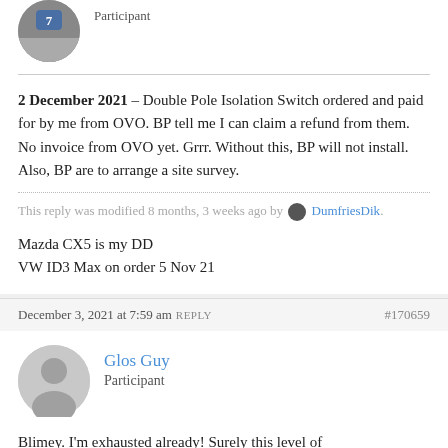[Figure (photo): Partial view of user avatar photo at top, circular crop]
Participant
2 December 2021 – Double Pole Isolation Switch ordered and paid for by me from OVO. BP tell me I can claim a refund from them. No invoice from OVO yet. Grrr. Without this, BP will not install. Also, BP are to arrange a site survey.
This reply was modified 8 months, 3 weeks ago by DumfriesDik.
Mazda CX5 is my DD
VW ID3 Max on order 5 Nov 21
December 3, 2021 at 7:59 am REPLY #170659
[Figure (illustration): Generic user avatar icon, circular grey placeholder]
Glos Guy
Participant
Blimey. I'm exhausted already! Surely this level of